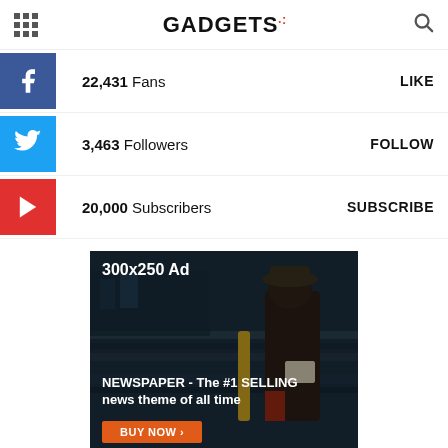GADGETS
22,431  Fans  LIKE
3,463  Followers  FOLLOW
20,000  Subscribers  SUBSCRIBE
[Figure (photo): Advertisement banner showing a man in a hat reading on a tablet at a train station. Text reads: '300x250 Ad' at top, 'NEWSPAPER - The #1 SELLING news theme of all time' in middle, and 'BUY NOW >' button at bottom.]